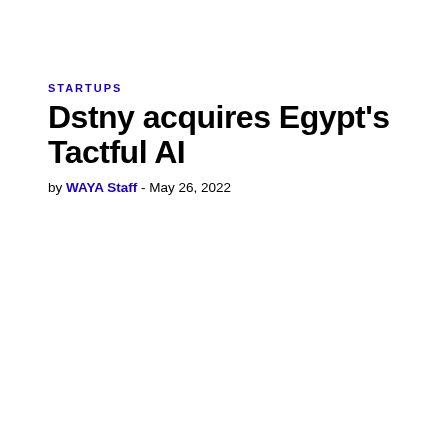STARTUPS
Dstny acquires Egypt's Tactful AI
by WAYA Staff - May 26, 2022